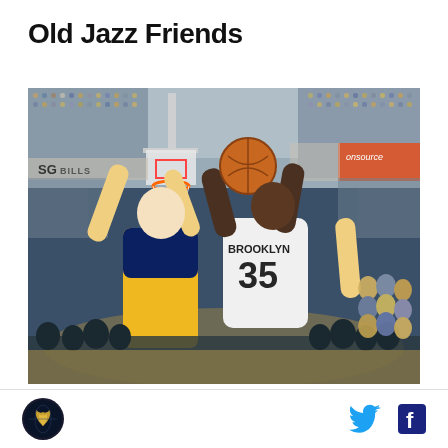Old Jazz Friends
[Figure (photo): NBA basketball game photo showing a Brooklyn Nets player wearing number 35 attempting a shot near the basket while being contested by an Indiana Pacers player, inside a basketball arena with crowd in the background]
[Figure (logo): Circular sports logo with dark background showing a golden/yellow phoenix or bird figure]
[Figure (other): Twitter bird social media icon in blue]
[Figure (other): Facebook 'f' social media icon in dark blue/navy]